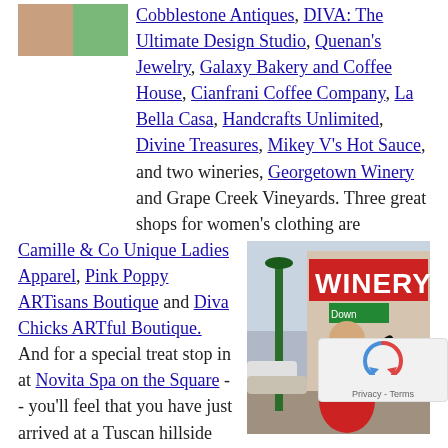Cobblestone Antiques, DIVA: The Ultimate Design Studio, Quenan's Jewelry, Galaxy Bakery and Coffee House, Cianfrani Coffee Company, La Bella Casa, Handcrafts Unlimited, Divine Treasures, Mikey V's Hot Sauce, and two wineries, Georgetown Winery and Grape Creek Vineyards. Three great shops for women's clothing are Camille & Co Unique Ladies Apparel, Pink Poppy ARTisans Boutique and Diva Chicks ARTful Boutique. And for a special treat stop in at Novita Spa on the Square -- you'll feel that you have just arrived at a Tuscan hillside villa. For music lovers and aspiring musicians, visit Ken's Guitars.
[Figure (photo): Photo of a winery storefront with a red WINERY sign, a green lamp post, and a decorative statue of a waiter figure in black and red uniform holding a tray.]
Rivery Town Crossing is a convenient location for da... needs met by shopping at The Home Depot, Wal-Mart...